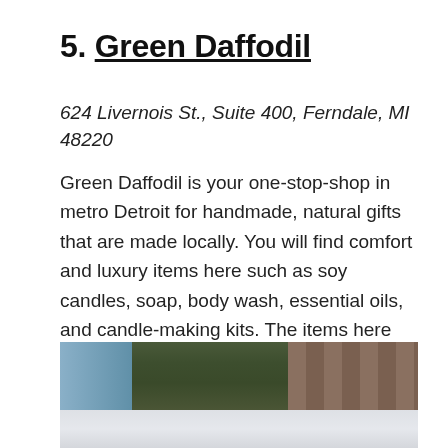5. Green Daffodil
624 Livernois St., Suite 400, Ferndale, MI 48220
Green Daffodil is your one-stop-shop in metro Detroit for handmade, natural gifts that are made locally. You will find comfort and luxury items here such as soy candles, soap, body wash, essential oils, and candle-making kits. The items here are all about natural pampering.
[Figure (photo): Interior of Green Daffodil store showing green walls and displayed merchandise; partially faded lower portion showing store shelves]